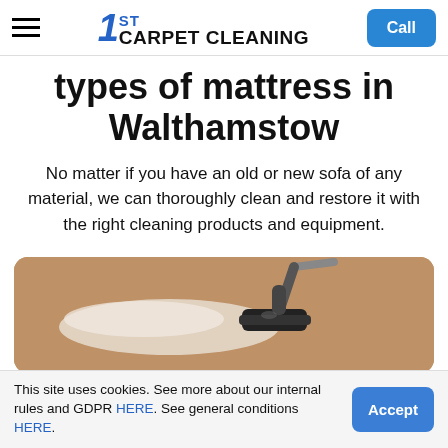1ST CARPET CLEANING | Call
types of mattress in Walthamstow
No matter if you have an old or new sofa of any material, we can thoroughly clean and restore it with the right cleaning products and equipment.
[Figure (photo): A vacuum cleaner nozzle cleaning a beige/tan carpet, showing a clean strip being made.]
This site uses cookies. See more about our internal rules and GDPR HERE. See general conditions HERE.